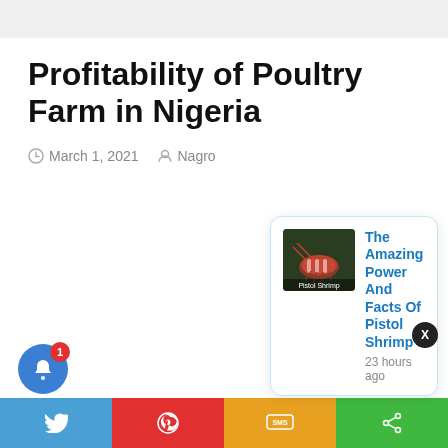Profitability of Poultry Farm in Nigeria
March 1, 2021  Nagro
[Figure (screenshot): Popup notification card showing a pistol shrimp image with the title 'The Amazing Power And Facts Of Pistol Shrimp' and timestamp '23 hours ago']
[Figure (infographic): Bottom share bar with Twitter (blue), Pinterest (red), SMS (yellow/orange), and share (green) segments, plus a blue bell notification button with red badge showing '1']